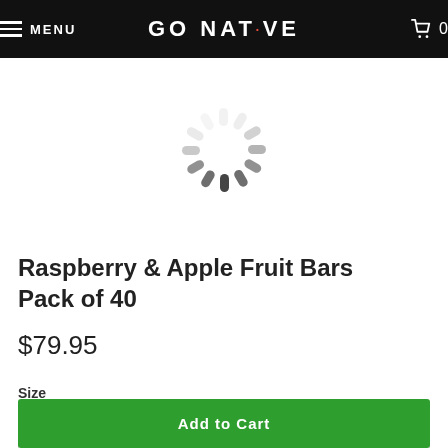MENU   GO NATIVE   0
[Figure (illustration): Loading spinner / activity indicator — a circular arrangement of rounded gray dashes fading from dark to light indicating a loading state]
Raspberry & Apple Fruit Bars Pack of 40
$79.95
Size
20g